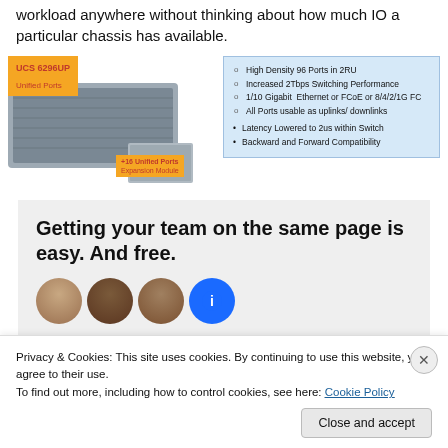workload anywhere without thinking about how much IO a particular chassis has available.
[Figure (photo): UCS 6296UP Unified Ports network switch chassis with +16 Unified Ports Expansion Module label, and a blue feature list box showing: High Density 96 Ports in 2RU, Increased 2Tbps Switching Performance, 1/10 Gigabit Ethernet or FCoE or 8/4/2/1G FC, All Ports usable as uplinks/downlinks, Latency Lowered to 2us within Switch, Backward and Forward Compatibility]
Getting your team on the same page is easy. And free.
[Figure (photo): Four avatar profile pictures in a row: three human faces and one blue circle with info icon]
Privacy & Cookies: This site uses cookies. By continuing to use this website, you agree to their use.
To find out more, including how to control cookies, see here: Cookie Policy
Close and accept